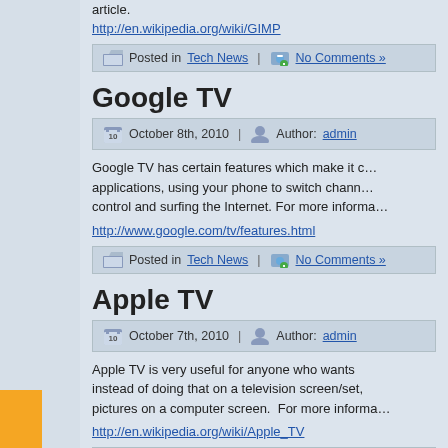article.
http://en.wikipedia.org/wiki/GIMP
Posted in Tech News | No Comments »
Google TV
October 8th, 2010 | Author: admin
Google TV has certain features which make it applications, using your phone to switch channels control and surfing the Internet. For more informa
http://www.google.com/tv/features.html
Posted in Tech News | No Comments »
Apple TV
October 7th, 2010 | Author: admin
Apple TV is very useful for anyone who wants instead of doing that on a television screen/set, pictures on a computer screen. For more informa
http://en.wikipedia.org/wiki/Apple_TV
Posted in Tech News | No Comments »